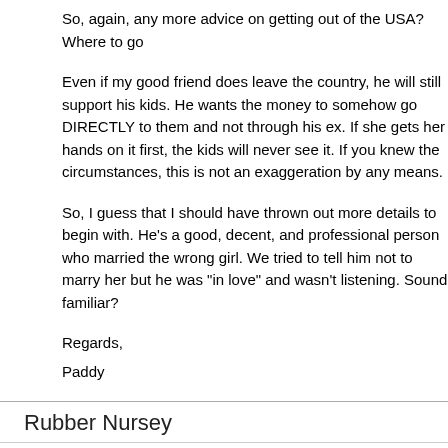So, again, any more advice on getting out of the USA? Where to go
Even if my good friend does leave the country, he will still support his kids. He wants the money to somehow go DIRECTLY to them and not through his ex. If she gets her hands on it first, the kids will never see it. If you knew the circumstances, this is not an exaggeration by any means.
So, I guess that I should have thrown out more details to begin with. He's a good, decent, and professional person who married the wrong girl. We tried to tell him not to marry her but he was "in love" and wasn't listening. Sound familiar?
Regards,
Paddy
Rubber Nursey
Paddy,
Now I DO feel decidedly sorry for your mate! Sorry I jumped the gun - I thought '(who has two kids)' in your original post meant that was who the money was going to, not to someone else. How does that work? How does a woman manage to get custody payments when she's already living with someone else and doesn't even have custody? American divorce laws suck!
But seriously though, you said the kids already live with your mate...